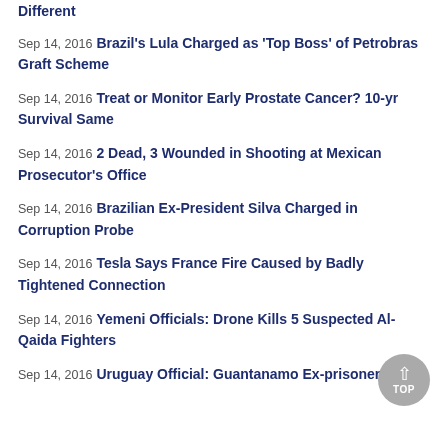Different
Sep 14, 2016 Brazil's Lula Charged as 'Top Boss' of Petrobras Graft Scheme
Sep 14, 2016 Treat or Monitor Early Prostate Cancer? 10-yr Survival Same
Sep 14, 2016 2 Dead, 3 Wounded in Shooting at Mexican Prosecutor's Office
Sep 14, 2016 Brazilian Ex-President Silva Charged in Corruption Probe
Sep 14, 2016 Tesla Says France Fire Caused by Badly Tightened Connection
Sep 14, 2016 Yemeni Officials: Drone Kills 5 Suspected Al-Qaida Fighters
Sep 14, 2016 Uruguay Official: Guantanamo Ex-prisoner's